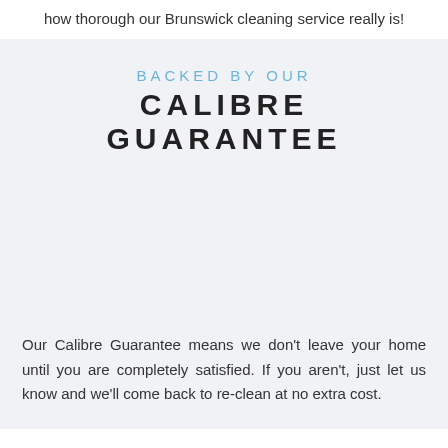how thorough our Brunswick cleaning service really is!
BACKED BY OUR
CALIBRE GUARANTEE
Our Calibre Guarantee means we don't leave your home until you are completely satisfied. If you aren't, just let us know and we'll come back to re-clean at no extra cost.